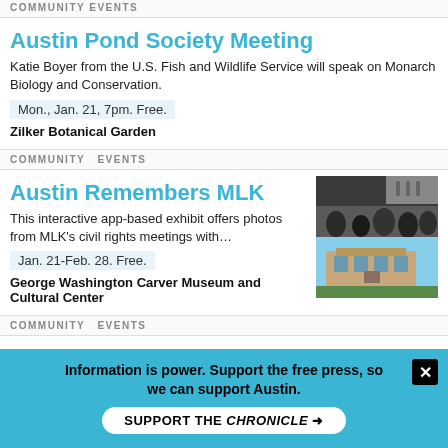COMMUNITY   EVENTS
Austin Pond Society Meeting
Katie Boyer from the U.S. Fish and Wildlife Service will speak on Monarch Biology and Conservation.
Mon., Jan. 21, 7pm. Free.
Zilker Botanical Garden
COMMUNITY   EVENTS
Austin Remembers MLK
This interactive app-based exhibit offers photos from MLK's civil rights meetings with…
Jan. 21-Feb. 28. Free.
George Washington Carver Museum and Cultural Center
[Figure (photo): Photo collage showing MLK civil rights meetings and a building exterior]
COMMUNITY   EVENTS
Beerthoven Kraft Piano Classes
Information is power. Support the free press, so we can support Austin.
SUPPORT THE CHRONICLE →